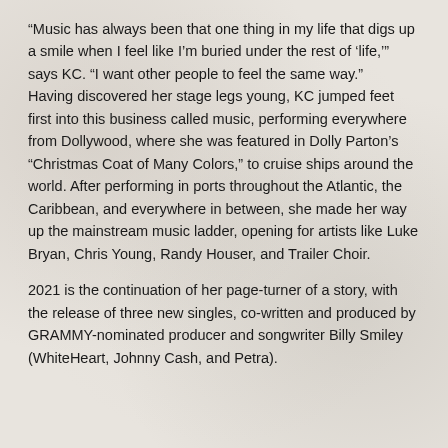“Music has always been that one thing in my life that digs up a smile when I feel like I’m buried under the rest of ‘life,’” says KC. “I want other people to feel the same way.” Having discovered her stage legs young, KC jumped feet first into this business called music, performing everywhere from Dollywood, where she was featured in Dolly Parton’s “Christmas Coat of Many Colors,” to cruise ships around the world. After performing in ports throughout the Atlantic, the Caribbean, and everywhere in between, she made her way up the mainstream music ladder, opening for artists like Luke Bryan, Chris Young, Randy Houser, and Trailer Choir.
2021 is the continuation of her page-turner of a story, with the release of three new singles, co-written and produced by GRAMMY-nominated producer and songwriter Billy Smiley (WhiteHeart, Johnny Cash, and Petra).